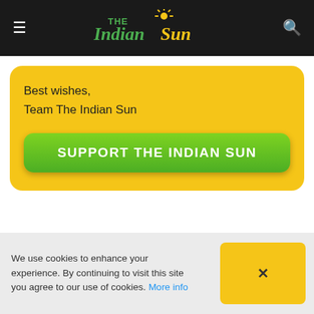The Indian Sun
Best wishes,
Team The Indian Sun
SUPPORT THE INDIAN SUN
We use cookies to enhance your experience. By continuing to visit this site you agree to our use of cookies. More info